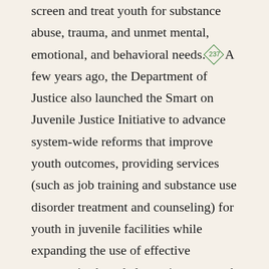screen and treat youth for substance abuse, trauma, and unmet mental, emotional, and behavioral needs.[237] A few years ago, the Department of Justice also launched the Smart on Juvenile Justice Initiative to advance system-wide reforms that improve youth outcomes, providing services (such as job training and substance use disorder treatment and counseling) for youth in juvenile facilities while expanding the use of effective community-based alternatives to youth detention.[238] While the number of juvenile arrests has fallen sharply over the past decade, roughly one million juvenile arrests were made in 2014.[239] An overwhelming majority of these arrests were for minor infractions. Children of